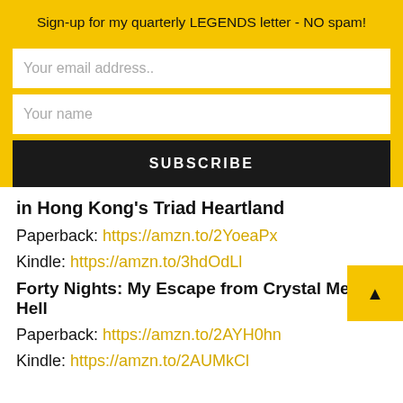Sign-up for my quarterly LEGENDS letter - NO spam!
Your email address..
Your name
SUBSCRIBE
in Hong Kong's Triad Heartland
Paperback: https://amzn.to/2YoeaPx
Kindle: https://amzn.to/3hdOdLl
Forty Nights: My Escape from Crystal Meth Hell
Paperback: https://amzn.to/2AYH0hn
Kindle: https://amzn.to/2AUMkCl